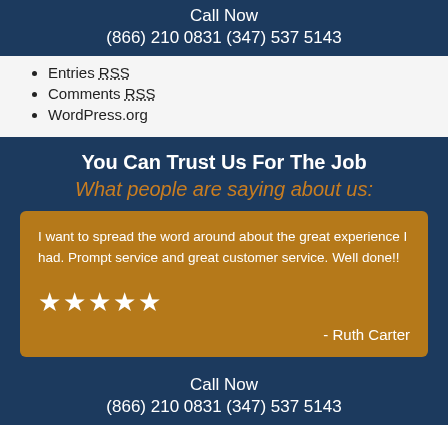Call Now
(866) 210 0831 (347) 537 5143
Entries RSS
Comments RSS
WordPress.org
You Can Trust Us For The Job
What people are saying about us:
I want to spread the word around about the great experience I had. Prompt service and great customer service. Well done!!
★★★★★
- Ruth Carter
Call Now
(866) 210 0831 (347) 537 5143